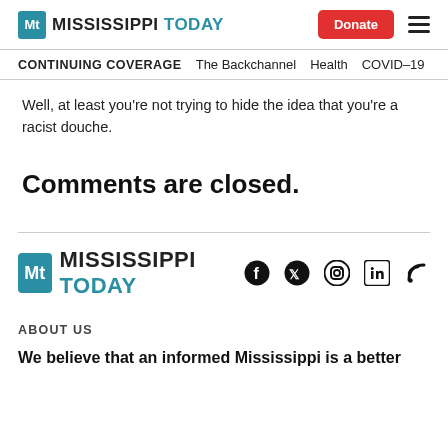MISSISSIPPI TODAY — Donate [button] ☰
CONTINUING COVERAGE   The Backchannel   Health   COVID-19
Well, at least you're not trying to hide the idea that you're a racist douche.
Comments are closed.
[Figure (logo): Mississippi Today footer logo with social media icons (Facebook, Twitter, Instagram, LinkedIn, RSS)]
ABOUT US
We believe that an informed Mississippi is a better